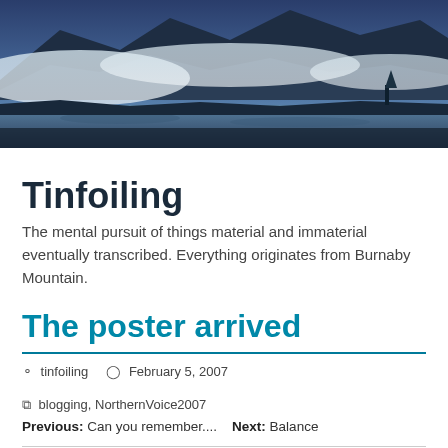[Figure (photo): Landscape photo of mountains partially shrouded in low clouds/fog, with a lake or body of water in the foreground reflecting the misty scene. Dark blue sky at top, snow or clouds draped along mountain ridge.]
Tinfoiling
The mental pursuit of things material and immaterial eventually transcribed. Everything originates from Burnaby Mountain.
The poster arrived
tinfoiling   February 5, 2007   blogging, NorthernVoice2007
Previous: Can you remember....   Next: Balance